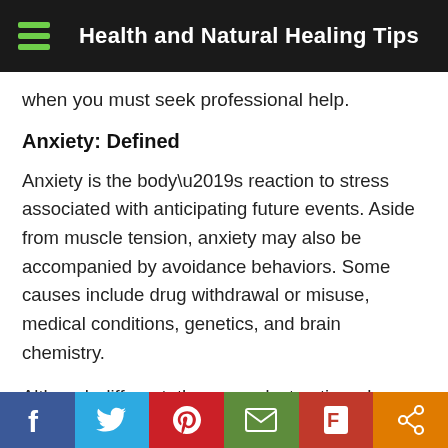Health and Natural Healing Tips
when you must seek professional help.
Anxiety: Defined
Anxiety is the body’s reaction to stress associated with anticipating future events. Aside from muscle tension, anxiety may also be accompanied by avoidance behaviors. Some causes include drug withdrawal or misuse, medical conditions, genetics, and brain chemistry.
Although different, these are destructive when you do not find ways to fight them.
f  🐦  p  ✉  F  ‹